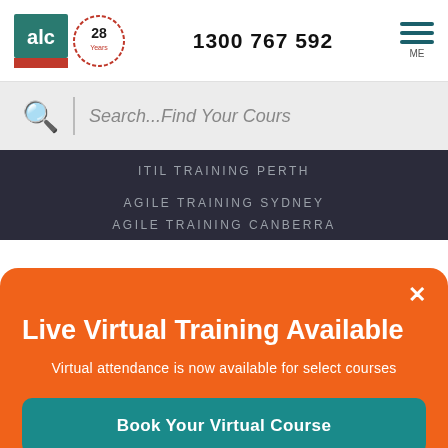[Figure (logo): ALC training company logo with green/red square and '28 Years' anniversary badge]
1300 767 592
[Figure (infographic): Hamburger menu icon with three horizontal lines and ME label]
Search...Find Your Course
ITIL TRAINING PERTH
AGILE TRAINING SYDNEY
AGILE TRAINING CANBERRA
Live Virtual Training Available
Virtual attendance is now available for select courses
Book Your Virtual Course